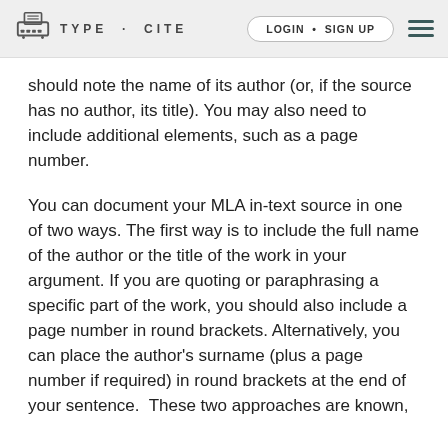TYPE · CITE   LOGIN • SIGN UP
should note the name of its author (or, if the source has no author, its title). You may also need to include additional elements, such as a page number.
You can document your MLA in-text source in one of two ways. The first way is to include the full name of the author or the title of the work in your argument. If you are quoting or paraphrasing a specific part of the work, you should also include a page number in round brackets. Alternatively, you can place the author's surname (plus a page number if required) in round brackets at the end of your sentence.  These two approaches are known,